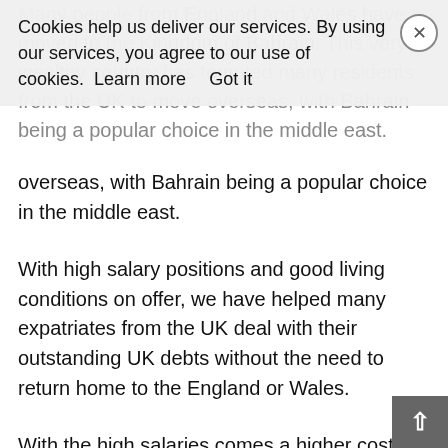Many people from England and Wales have moved to the Kingdom of Bahrain. This very wealthy country has tempted many residents from the UK to move overseas, with Bahrain being a popular choice in the middle east.
Cookies help us deliver our services. By using our services, you agree to our use of cookies. Learn more  Got it
With high salary positions and good living conditions on offer, we have helped many expatriates from the UK deal with their outstanding UK debts without the need to return home to the England or Wales.
With the high salaries comes a higher cost of living, and in many cases it can still be a struggle to handle payments to UK creditors as well as the day to day living costs overseas. Problems can also occur if there is a UK property owned, maybe in negative equity due to the poor UK housing market. If the property is for sale then mortgage payments still need to be made and if you rely on tenants to pay this cost,